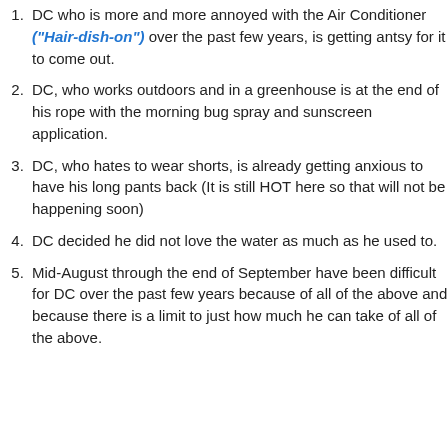DC who is more and more annoyed with the Air Conditioner ("Hair-dish-on") over the past few years, is getting antsy for it to come out.
DC, who works outdoors and in a greenhouse is at the end of his rope with the morning bug spray and sunscreen application.
DC, who hates to wear shorts, is already getting anxious to have his long pants back (It is still HOT here so that will not be happening soon)
DC decided he did not love the water as much as he used to.
Mid-August through the end of September have been difficult for DC over the past few years because of all of the above and because there is a limit to just how much he can take of all of the above.